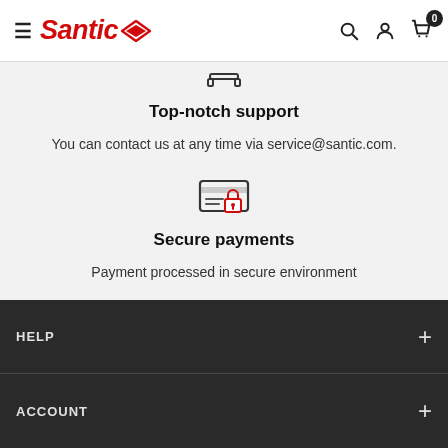Santic — navigation header with menu, logo, search, account, cart (0)
[Figure (illustration): Partial icon visible at top of content area (bottom portion of a headset/support icon)]
Top-notch support
You can contact us at any time via service@santic.com.
[Figure (illustration): Secure payment icon: credit card with a padlock overlay (lock in red)]
Secure payments
Payment processed in secure environment
HELP +
ACCOUNT +